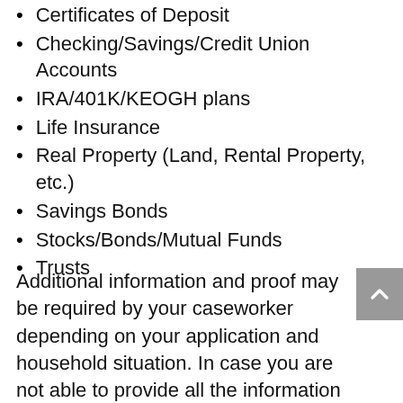Certificates of Deposit
Checking/Savings/Credit Union Accounts
IRA/401K/KEOGH plans
Life Insurance
Real Property (Land, Rental Property, etc.)
Savings Bonds
Stocks/Bonds/Mutual Funds
Trusts
Additional information and proof may be required by your caseworker depending on your application and household situation. In case you are not able to provide all the information during the SNAP application interview, you may be